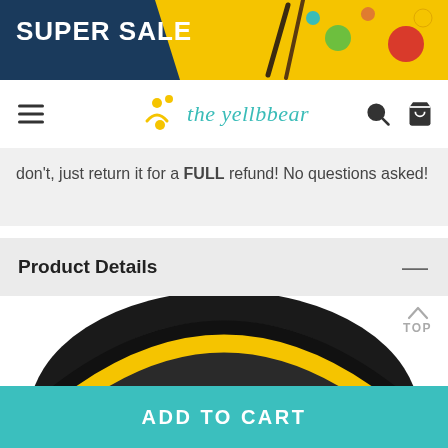[Figure (screenshot): Super Sale promotional banner with teal/navy background on left and yellow background on right with scattered school/craft supply items]
the yellbbear — navigation bar with hamburger menu, logo, search and cart icons
don't, just return it for a FULL refund! No questions asked!
Product Details
[Figure (photo): Black and yellow steering wheel or curved product, partially visible from top]
ADD TO CART